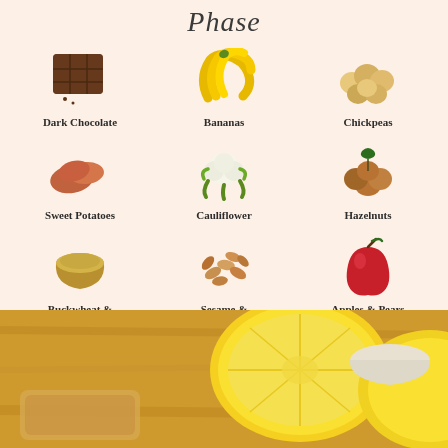Phase
[Figure (infographic): Grid of 9 food items: Dark Chocolate, Bananas, Chickpeas, Sweet Potatoes, Cauliflower, Hazelnuts, Buckwheat & Millet, Sesame & Sunflower Seeds, Apples & Pears — each with an illustrated icon and bold label on a peach/cream background]
WWW.HAZELANDCACAO.COM
[Figure (photo): Photo of a halved lemon and food items on a warm wooden surface]